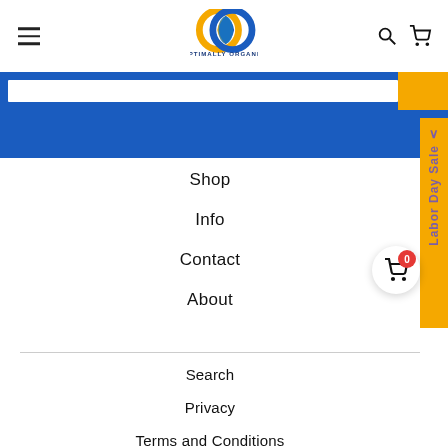[Figure (logo): Optimally Organic logo — two overlapping rings in gold and blue with text OPTIMALLY ORGANIC below]
Shop
Info
Contact
About
Search
Privacy
Terms and Conditions